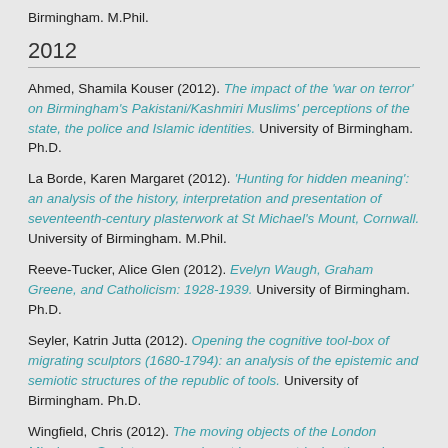Birmingham. M.Phil.
2012
Ahmed, Shamila Kouser (2012). The impact of the 'war on terror' on Birmingham's Pakistani/Kashmiri Muslims' perceptions of the state, the police and Islamic identities. University of Birmingham. Ph.D.
La Borde, Karen Margaret (2012). 'Hunting for hidden meaning': an analysis of the history, interpretation and presentation of seventeenth-century plasterwork at St Michael's Mount, Cornwall. University of Birmingham. M.Phil.
Reeve-Tucker, Alice Glen (2012). Evelyn Waugh, Graham Greene, and Catholicism: 1928-1939. University of Birmingham. Ph.D.
Seyler, Katrin Jutta (2012). Opening the cognitive tool-box of migrating sculptors (1680-1794): an analysis of the epistemic and semiotic structures of the republic of tools. University of Birmingham. Ph.D.
Wingfield, Chris (2012). The moving objects of the London Missionary Society: an experiment in symmetrical anthropology. University of Birmingham. Ph.D.